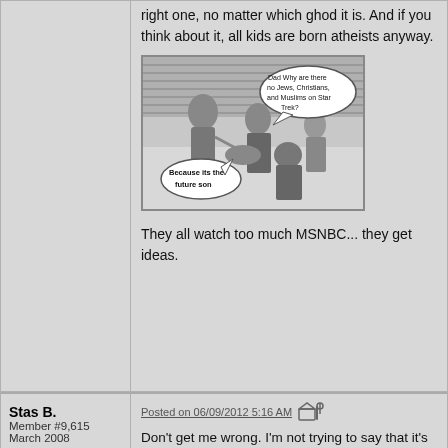right one, no matter which ghod it is. And if you think about it, all kids are born atheists anyway.
[Figure (illustration): Black and white vintage photo of a family at dinner table with speech bubbles. Child asks 'Dad Why are there no Jews, Christians, and Muslims on Star Trek?' and father replies 'Because its the future son']
They all watch too much MSNBC... they get ideas.
Stas B.
Member #9,615
March 2008
Posted on 06/09/2012 5:16 AM
Don't get me wrong. I'm not trying to say that it's valid to believe in deities because you can't prove they don't exist. I'm just saying that people reject the concept of god because it's